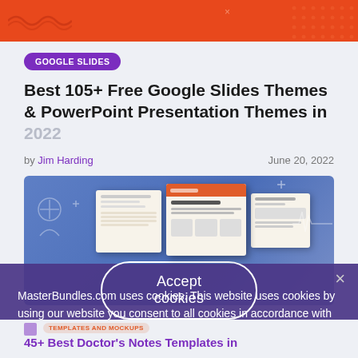[Figure (screenshot): Orange banner at the top of the MasterBundles website]
GOOGLE SLIDES
Best 105+ Free Google Slides Themes & PowerPoint Presentation Themes in 2022
by Jim Harding   June 20, 2022
[Figure (screenshot): Blue background with medical document slide templates/mockups shown on screen]
MasterBundles.com uses cookies. This website uses cookies by using our website you consent to all cookies in accordance with our cookie policy.
Accept cookies
TEMPLATES AND MOCKUPS
45+ Best Doctor's Notes Templates in 2022